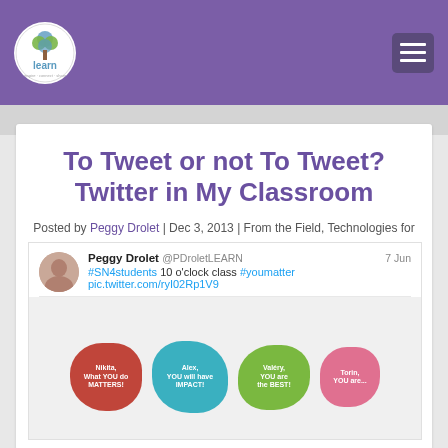[Figure (logo): ilearn logo in white circle on purple header bar]
[Figure (other): Hamburger menu button on purple header bar]
To Tweet or not To Tweet? Twitter in My Classroom
Posted by Peggy Drolet | Dec 3, 2013 | From the Field, Technologies for Learning
[Figure (screenshot): Screenshot of a tweet by Peggy Drolet (@PDroletLEARN) dated 7 Jun: #SN4students 10 o'clock class #youmatter pic.twitter.com/ryI02Rp1V9. Below the tweet text is an image with speech bubbles: red bubble 'Nikita, What YOU do MATTERS!', teal bubble 'Alex, YOU will have IMPACT!', green bubble 'Valéry, YOU are the BEST!', pink bubble 'Torin, YOU are...']